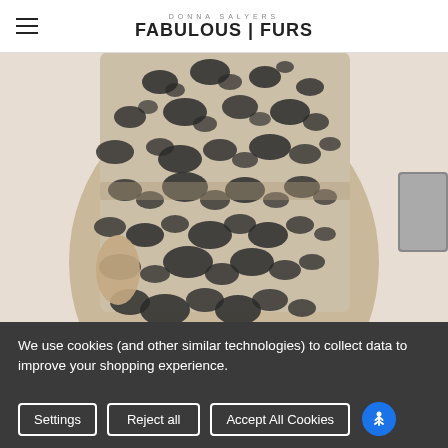DONNA SALYERS FABULOUS FURS
[Figure (photo): Woman wearing a beige and black leopard print faux fur coat, belted at waist, mid-length. A partial view of another garment thumbnail visible on the right edge.]
We use cookies (and other similar technologies) to collect data to improve your shopping experience.
Settings | Reject all | Accept All Cookies